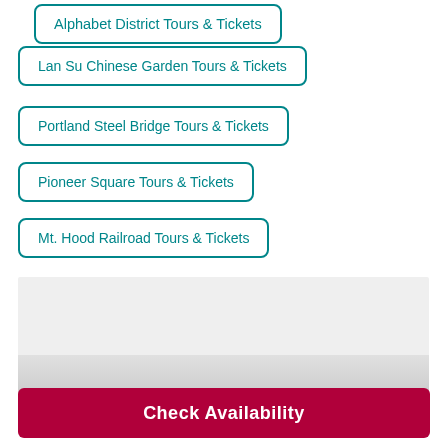Alphabet District Tours & Tickets
Lan Su Chinese Garden Tours & Tickets
Portland Steel Bridge Tours & Tickets
Pioneer Square Tours & Tickets
Mt. Hood Railroad Tours & Tickets
[Figure (map): Map area placeholder with grey background]
Check Availability